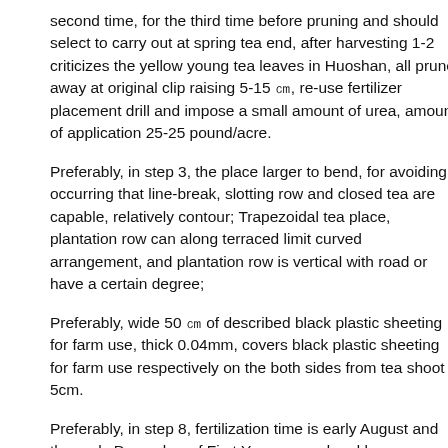second time, for the third time before pruning and should select to carry out at spring tea end, after harvesting 1-2 criticizes the yellow young tea leaves in Huoshan, all prune away at original clip raising 5-15 ㎝, re-use fertilizer placement drill and impose a small amount of urea, amount of application 25-25 pound/acre.
Preferably, in step 3, the place larger to bend, for avoiding occurring that line-break, slotting row and closed tea are capable, relatively contour; Trapezoidal tea place, plantation row can along terraced limit curved arrangement, and plantation row is vertical with road or have a certain degree;
Preferably, wide 50 ㎝ of described black plastic sheeting for farm use, thick 0.04mm, covers black plastic sheeting for farm use respectively on the both sides from tea shoot 5cm.
Preferably, in step 8, fertilization time is early August and the early December of First Year, second and be respectively late April and early December on the 3rd year.
Compared with prior art, the invention has the beneficial